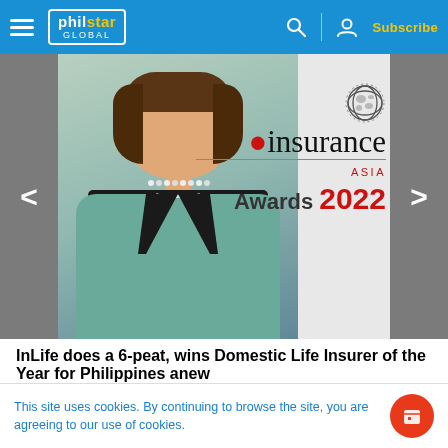philstar GLOBAL | Subscribe
[Figure (photo): Slideshow image of a woman in a teal blazer with pearl necklace, alongside the Insurance Asia Awards 2022 logo]
InLife does a 6-peat, wins Domestic Life Insurer of the Year for Philippines anew
[Figure (other): Dot navigation for slideshow carousel, 9 dots]
[Figure (screenshot): Advertisement banner: GAMES - Always fun. on blue background]
This site uses cookies. By continuing to browse the site, you are agreeing to our use of cookies.